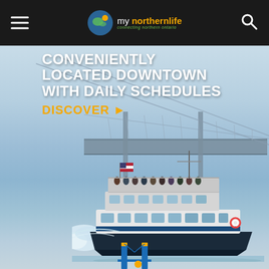my [site] — connecting northern ontario
[Figure (photo): A passenger ferry boat speeding across blue water beneath a large suspension bridge. The boat is white and dark blue with passengers visible on the upper deck and an American flag flying. Large wake spray visible on left side. Below the main image, partial view of a bridge icon at the bottom.]
CONVENIENTLY LOCATED DOWNTOWN WITH DAILY SCHEDULES
DISCOVER ▶